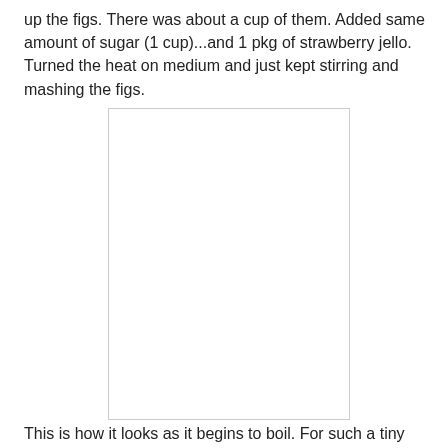up the figs. There was about a cup of them. Added same amount of sugar (1 cup)...and 1 pkg of strawberry jello. Turned the heat on medium and just kept stirring and mashing the figs.
[Figure (photo): White/blank rectangular image placeholder showing how the fig mixture looks as it begins to boil.]
This is how it looks as it begins to boil. For such a tiny